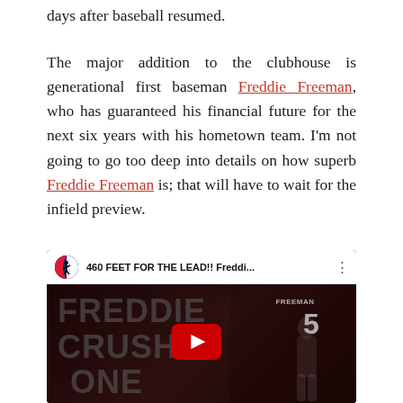days after baseball resumed.
The major addition to the clubhouse is generational first baseman Freddie Freeman, who has guaranteed his financial future for the next six years with his hometown team. I'm not going to go too deep into details on how superb Freddie Freeman is; that will have to wait for the infield preview.
[Figure (screenshot): YouTube video thumbnail showing MLB video titled '460 FEET FOR THE LEAD!! Freddi...' with text 'FREDDIE CRUSHE ONE' overlaid and a player wearing jersey number 5 (Freeman) batting in the background, with a YouTube play button in the center.]